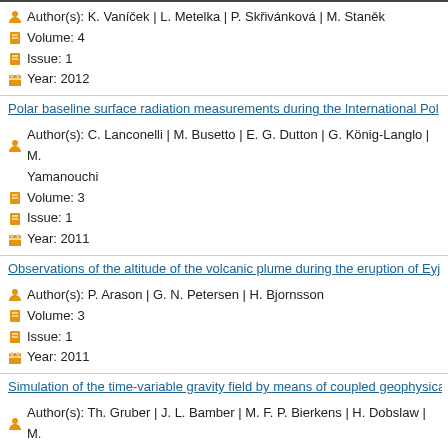Author(s): K. Vaníček | L. Metelka | P. Skřivánková | M. Staněk
Volume: 4
Issue: 1
Year: 2012
Polar baseline surface radiation measurements during the International Pol
Author(s): C. Lanconelli | M. Busetto | E. G. Dutton | G. König-Langlo | M. Yamanouchi
Volume: 3
Issue: 1
Year: 2011
Observations of the altitude of the volcanic plume during the eruption of Eyj
Author(s): P. Arason | G. N. Petersen | H. Bjornsson
Volume: 3
Issue: 1
Year: 2011
Simulation of the time-variable gravity field by means of coupled geophysica
Author(s): Th. Gruber | J. L. Bamber | M. F. P. Bierkens | H. Dobslaw | M. T. van Dam | L. L. A. Vermeersen | P. N. A. M. Visser
Volume: 3
Issue: 1
Year: 2011
A search that is truncated at bottom of page